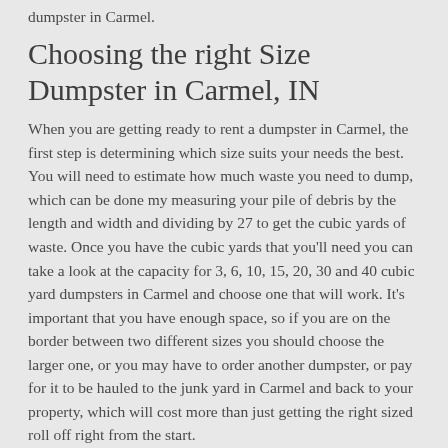dumpster in Carmel.
Choosing the right Size Dumpster in Carmel, IN
When you are getting ready to rent a dumpster in Carmel, the first step is determining which size suits your needs the best. You will need to estimate how much waste you need to dump, which can be done my measuring your pile of debris by the length and width and dividing by 27 to get the cubic yards of waste. Once you have the cubic yards that you'll need you can take a look at the capacity for 3, 6, 10, 15, 20, 30 and 40 cubic yard dumpsters in Carmel and choose one that will work. It's important that you have enough space, so if you are on the border between two different sizes you should choose the larger one, or you may have to order another dumpster, or pay for it to be hauled to the junk yard in Carmel and back to your property, which will cost more than just getting the right sized roll off right from the start.
Carmel Dumpster Sizes
There are two main types of dumpsters in Carmel, which are